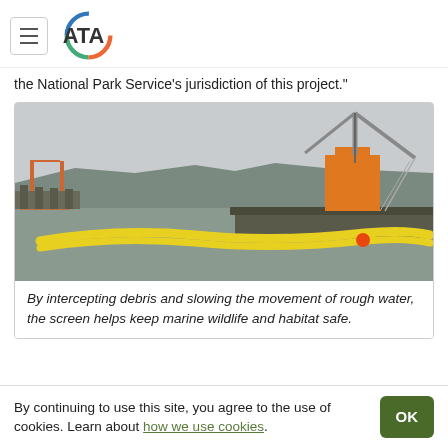ATA logo with hamburger menu
the National Park Service’s jurisdiction of this project.”
[Figure (photo): A marine construction barge with a crane on the water near the Golden Gate Bridge. Yellow containment/silt screen booms float on the water surface in a curve. The scene is overcast.]
By intercepting debris and slowing the movement of rough water, the screen helps keep marine wildlife and habitat safe.
By continuing to use this site, you agree to the use of cookies. Learn about how we use cookies.